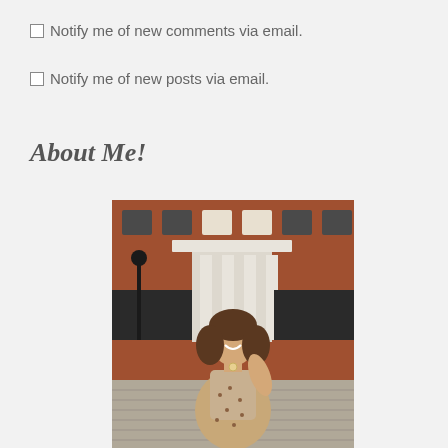Notify me of new comments via email.
Notify me of new posts via email.
About Me!
[Figure (photo): A smiling young woman with wavy brown hair wearing a floral/patterned dress, standing in front of a red brick building with white columns on a cobblestone street.]